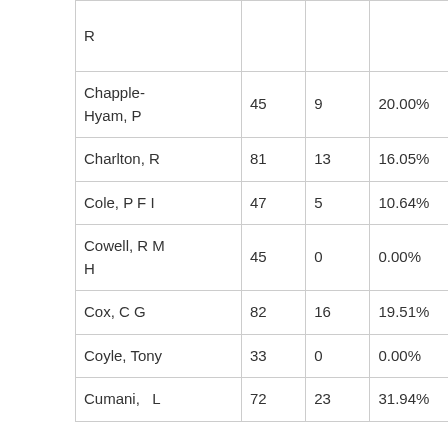| R |  |  |  |  |  |  |
| Chapple-Hyam, P | 45 | 9 | 20.00% | 1.64 | 4.30 | -2.5 |
| Charlton, R | 81 | 13 | 16.05% | 0.96 | 2.11 | -4.6 |
| Cole, P F I | 47 | 5 | 10.64% | 1.01 | 5.43 | -6.2 |
| Cowell, R M H | 45 | 0 | 0.00% | 0.00 | 0.00 | -45 |
| Cox, C G | 82 | 16 | 19.51% | 1.44 | 2.05 | -14 |
| Coyle, Tony | 33 | 0 | 0.00% | 0.00 | 0.00 | -33 |
| Cumani, L | 72 | 23 | 31.94% | 1.73 | 4.54 | 7.7 |